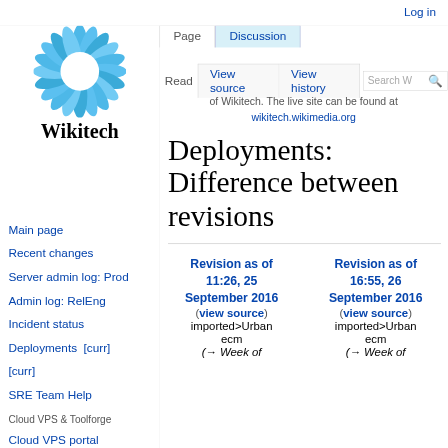Log in
[Figure (logo): Wikitech logo: circular flower/gear shape in blue tones with white center, above the word Wikitech in serif font]
Main page
Recent changes
Server admin log: Prod
Admin log: RelEng
Incident status
Deployments   [curr] [curr]
SRE Team Help
Cloud VPS & Toolforge
Cloud VPS portal
Toolforge portal
Request VPS project
Admin log: Cloud VPS
This is a static daily backup copy of Wikitech. The live site can be found at wikitech.wikimedia.org
Deployments: Difference between revisions
| Revision as of 11:26, 25 September 2016 (view source) imported>Urbanecm (→Week of | Revision as of 16:55, 26 September 2016 (view source) imported>Urbanecm (→Week of |
| --- | --- |